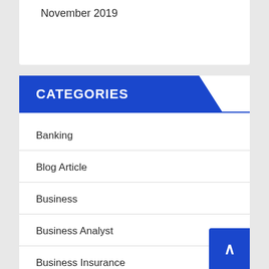November 2019
CATEGORIES
Banking
Blog Article
Business
Business Analyst
Business Insurance
Companies